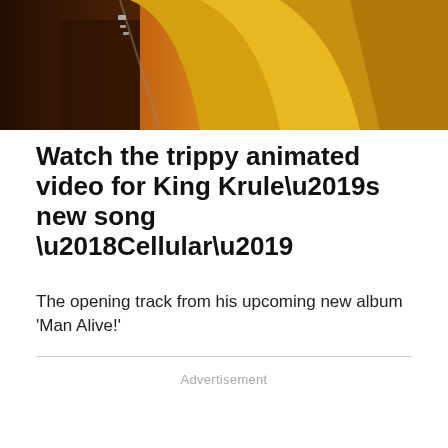[Figure (photo): Cropped photo showing a person wearing a yellow/orange jacket with a zipper, dark background, warm tones]
Watch the trippy animated video for King Krule’s new song ‘Cellular’
The opening track from his upcoming new album 'Man Alive!'
Advertisement